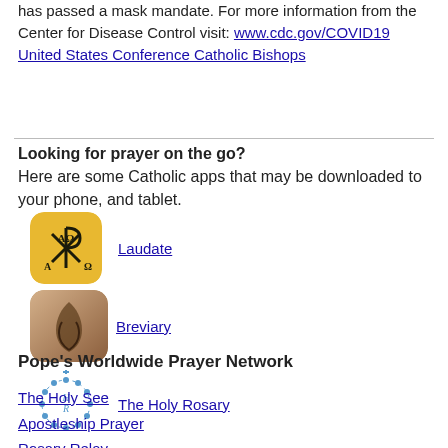has passed a mask mandate. For more information from the Center for Disease Control visit: www.cdc.gov/COVID19
United States Conference Catholic Bishops
Looking for prayer on the go?
Here are some Catholic apps that may be downloaded to your phone, and tablet.
[Figure (logo): Laudate app icon - gold/yellow background with Chi Rho symbol and Greek letters Alpha and Omega]
Laudate
[Figure (logo): Breviary app icon - brown/tan gradient with praying hands silhouette]
Breviary
[Figure (logo): The Holy Rosary app icon - circular rosary beads with HR initials and cross]
The Holy Rosary
Pope's Worldwide Prayer Network
The Holy See
Apostleship Prayer
Rosary Relay